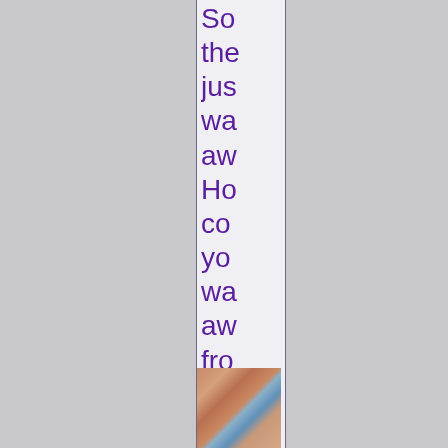So the jus wa aw Ho co yo wa aw fro he Lo at he
[Figure (photo): Partial photo visible at bottom of column strip, showing warm orange/brown tones with a blue element, cropped]